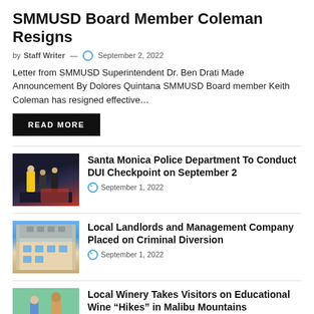SMMUSD Board Member Coleman Resigns
by Staff Writer — September 2, 2022
Letter from SMMUSD Superintendent Dr. Ben Drati Made Announcement By Dolores Quintana SMMUSD Board member Keith Coleman has resigned effective…
READ MORE
[Figure (photo): Night scene with police officers and civilians near a car]
Santa Monica Police Department To Conduct DUI Checkpoint on September 2
September 1, 2022
[Figure (photo): Apartment building with balconies under blue sky]
Local Landlords and Management Company Placed on Criminal Diversion
September 1, 2022
[Figure (photo): Two people standing in vineyard/garden in Malibu mountains]
Local Winery Takes Visitors on Educational Wine “Hikes” in Malibu Mountains
September 1, 2022
[Figure (photo): Partially visible image for McConnell's Fine article]
Santa Monica Is Getting A New McConnell’s Fine